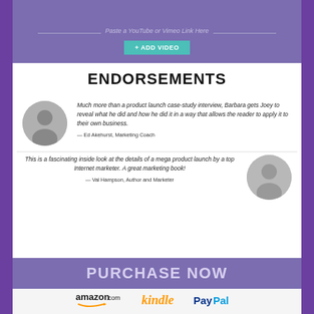Paste a YouTube or Vimeo Link Here
+ ADD VIDEO
ENDORSEMENTS
Much more than a product launch case-study interview, Barbara gets Joey to reveal what he did and how he did it in a way that allows the reader to apply it to their own business.
— Ed Akehurst, Marketing Coach
This is a fascinating inside look at the details of a mega product launch by a top Internet marketer. A great marketing book!
— Val Hampson, Author and Marketer
PURCHASE NOW
[Figure (logo): amazon.com logo]
[Figure (logo): Kindle logo]
[Figure (logo): PayPal logo]